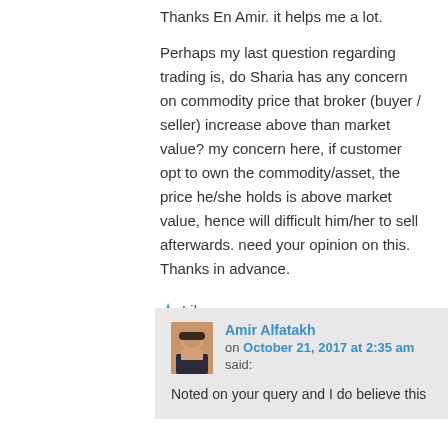Thanks En Amir. it helps me a lot.
Perhaps my last question regarding trading is, do Sharia has any concern on commodity price that broker (buyer / seller) increase above than market value? my concern here, if customer opt to own the commodity/asset, the price he/she holds is above market value, hence will difficult him/her to sell afterwards. need your opinion on this. Thanks in advance.
★ Like
Reply ↓
Amir Alfatakh
on October 21, 2017 at 2:35 am
said:
Noted on your query and I do believe this